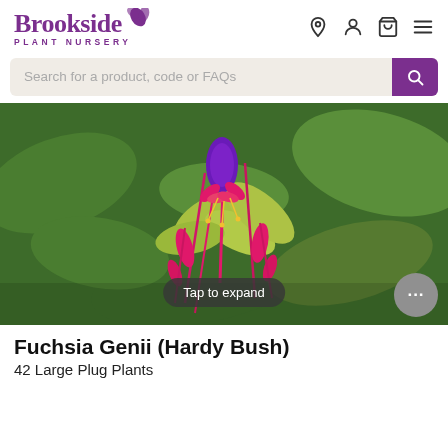Brookside PLANT NURSERY
Search for a product, code or FAQs
[Figure (photo): Close-up photograph of a Fuchsia Genii (Hardy Bush) plant showing vivid pink and purple hanging flowers with green foliage in the background. A 'Tap to expand' overlay button is shown at the bottom center.]
Fuchsia Genii (Hardy Bush)
42 Large Plug Plants